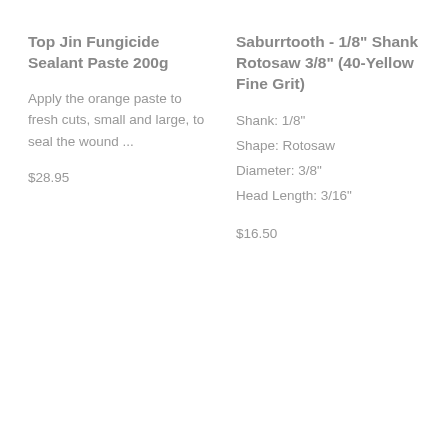Top Jin Fungicide Sealant Paste 200g
Apply the orange paste to fresh cuts, small and large, to seal the wound ...
$28.95
Saburrtooth - 1/8" Shank Rotosaw 3/8" (40-Yellow Fine Grit)
Shank: 1/8"
Shape: Rotosaw
Diameter: 3/8"
Head Length: 3/16"
$16.50